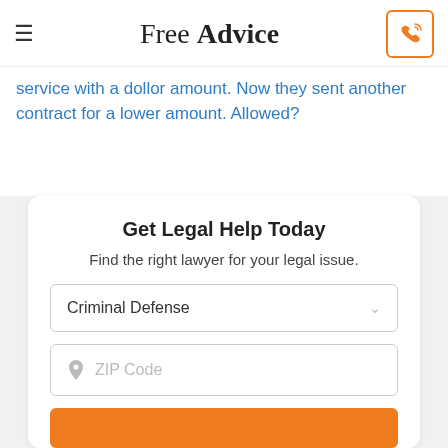Free Advice
service with a dollor amount. Now they sent another contract for a lower amount. Allowed?
Get Legal Help Today
Find the right lawyer for your legal issue.
Criminal Defense
ZIP Code